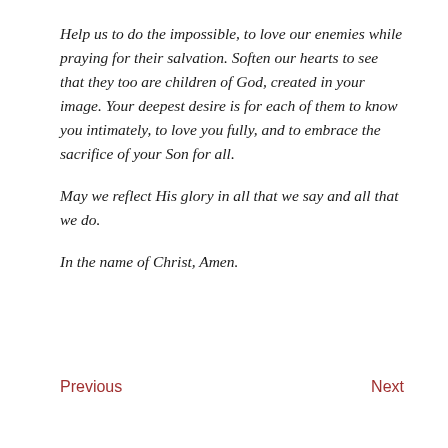Help us to do the impossible, to love our enemies while praying for their salvation. Soften our hearts to see that they too are children of God, created in your image. Your deepest desire is for each of them to know you intimately, to love you fully, and to embrace the sacrifice of your Son for all.
May we reflect His glory in all that we say and all that we do.
In the name of Christ, Amen.
Previous    Next